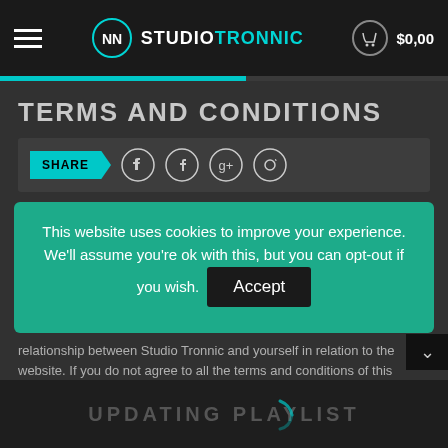STUDIOTRONNIC $0,00
TERMS AND CONDITIONS
[Figure (screenshot): Share bar with SHARE button and social media icons (Twitter, Facebook, Google+, Pinterest)]
This website uses cookies to improve your experience. We'll assume you're ok with this, but you can opt-out if you wish. Accept
relationship between Studio Tronnic and yourself in relation to the website. If you do not agree to all the terms and conditions of this agreement, then you may not access the website or use any services.
The use of the website is subject to the following terms of use:
UPDATING PLAYLIST